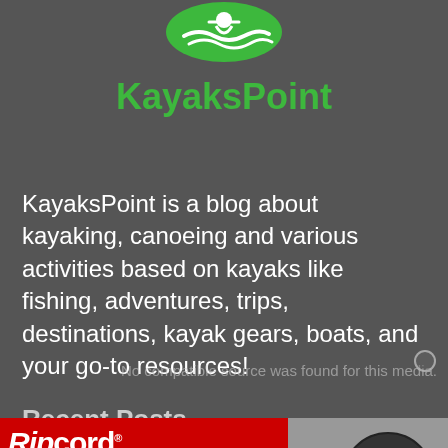[Figure (logo): KayaksPoint logo with green kayaker icon and green text 'KayaksPoint']
KayaksPoint is a blog about kayaking, canoeing and various activities based on kayaks like fishing, adventures, trips, destinations, kayak gears, boats, and your go-to resources!
No compatible source was found for this media.
Recent Posts
[Figure (screenshot): Ripcord Arrow Rest advertisement banner with red background, reel image, and MAX branding. Bullets: Supreme accuracy, Full arrow containment, Easy set-up and tuning. LEARN MORE button.]